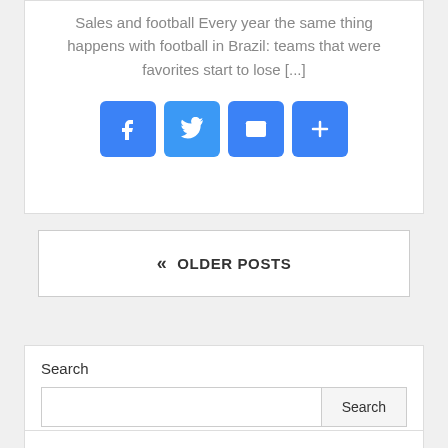Sales and football Every year the same thing happens with football in Brazil: teams that were favorites start to lose [...]
[Figure (other): Social share icons: Facebook, Twitter, Email, More (plus)]
« OLDER POSTS
Search
Search button